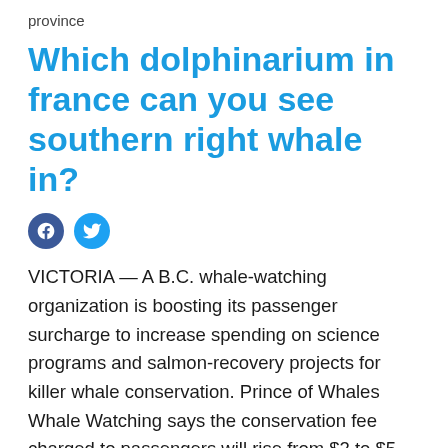province
Which dolphinarium in france can you see southern right whale in?
VICTORIA — A B.C. whale-watching organization is boosting its passenger surcharge to increase spending on science programs and salmon-recovery projects for killer whale conservation. Prince of Whales Whale Watching says the conservation fee charged to passengers will rise from $2 to $5 and will be aimed at supporting the endangered southern resident killer whale population.